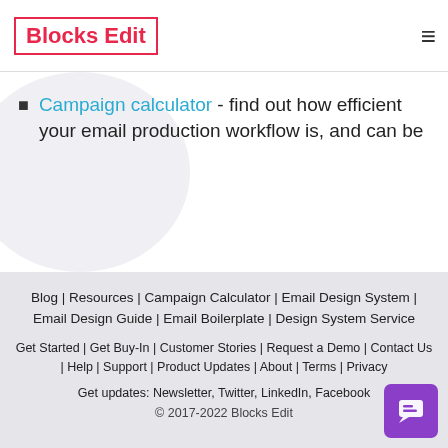Blocks Edit
Campaign calculator - find out how efficient your email production workflow is, and can be
Blog | Resources | Campaign Calculator | Email Design System | Email Design Guide | Email Boilerplate | Design System Service
Get Started | Get Buy-In | Customer Stories | Request a Demo | Contact Us | Help | Support | Product Updates | About | Terms | Privacy
Get updates: Newsletter, Twitter, LinkedIn, Facebook
© 2017-2022 Blocks Edit